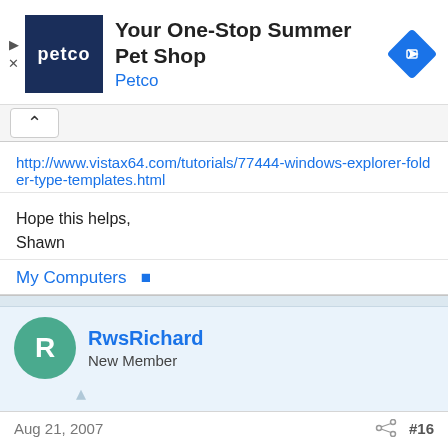[Figure (screenshot): Petco advertisement banner with Petco logo, text 'Your One-Stop Summer Pet Shop', 'Petco', navigation arrow icon, and ad controls (play and close buttons).]
http://www.vistax64.com/tutorials/77444-windows-explorer-folder-type-templates.html
Hope this helps,
Shawn
My Computers
RwsRichard
New Member
Aug 21, 2007
#16
brink said: